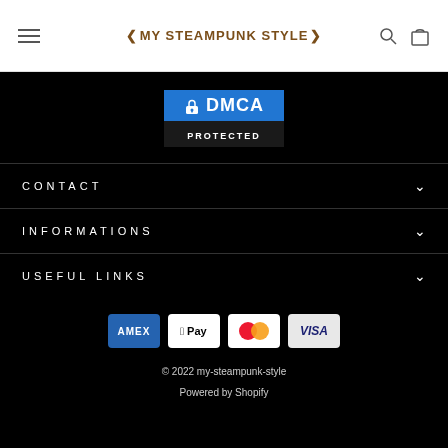MY STEAMPUNK STYLE
[Figure (logo): DMCA Protected badge with blue top section showing lock icon and DMCA text, dark bottom section with PROTECTED text]
CONTACT
INFORMATIONS
USEFUL LINKS
[Figure (infographic): Payment method icons: American Express, Apple Pay, Mastercard, Visa]
© 2022 my-steampunk-style
Powered by Shopify